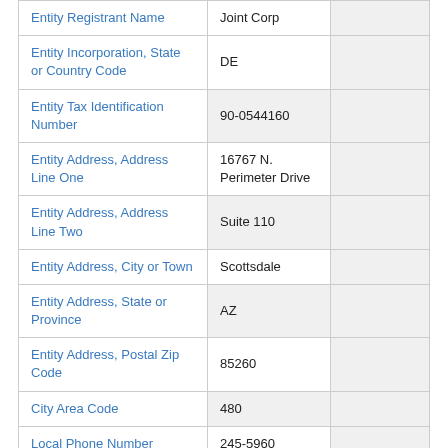| Field | Value |  |
| --- | --- | --- |
| Entity Registrant Name | Joint Corp |  |
| Entity Incorporation, State or Country Code | DE |  |
| Entity Tax Identification Number | 90-0544160 |  |
| Entity Address, Address Line One | 16767 N. Perimeter Drive |  |
| Entity Address, Address Line Two | Suite 110 |  |
| Entity Address, City or Town | Scottsdale |  |
| Entity Address, State or Province | AZ |  |
| Entity Address, Postal Zip Code | 85260 |  |
| City Area Code | 480 |  |
| Local Phone Number | 245-5960 |  |
| Title of 12(b) Security | Common Stock, $0.001 Par |  |